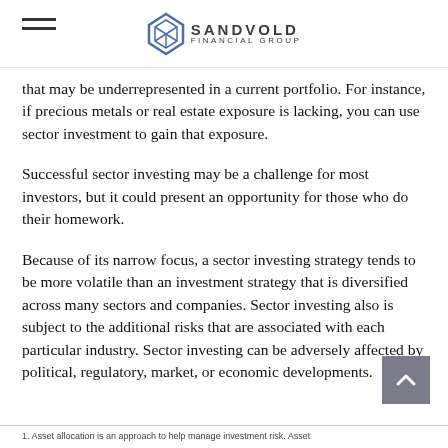SANDVOLD FINANCIAL GROUP
that may be underrepresented in a current portfolio. For instance, if precious metals or real estate exposure is lacking, you can use sector investment to gain that exposure.
Successful sector investing may be a challenge for most investors, but it could present an opportunity for those who do their homework.
Because of its narrow focus, a sector investing strategy tends to be more volatile than an investment strategy that is diversified across many sectors and companies. Sector investing also is subject to the additional risks that are associated with each particular industry. Sector investing can be adversely affected by political, regulatory, market, or economic developments.
1. Asset allocation is an approach to help manage investment risk. Asset